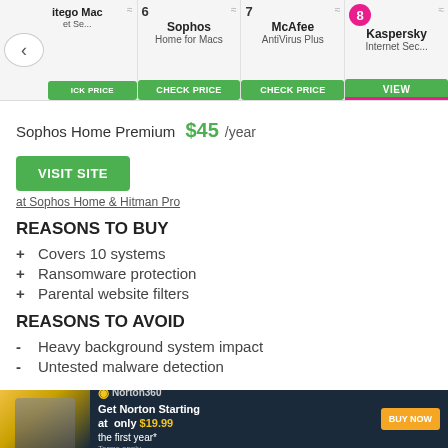[Figure (screenshot): Navigation bar with product cards: partial item (itego Mac et Se...), item 6 Sophos Home for Macs with CHECK PRICE button, item 7 McAfee AntiVirus Plus with CHECK PRICE button, item 8 Kaspersky Internet Sec... with VIEW button (highlighted with pink circle and pink underline)]
Sophos Home Premium $45 /year
VISIT SITE
at Sophos Home & Hitman Pro
REASONS TO BUY
+ Covers 10 systems
+ Ransomware protection
+ Parental website filters
REASONS TO AVOID
- Heavy background system impact
- Untested malware detection
[Figure (infographic): Norton 360 advertisement banner: dark background with person silhouette, Norton 360 logo, text 'Get Norton Starting at only $19.99 the first year*', orange BUY NOW button, Terms apply.]